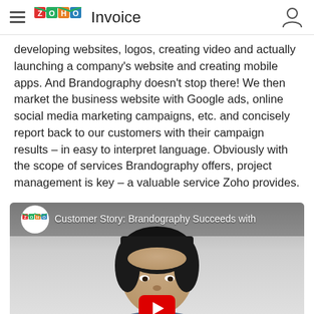≡ ZOHO Invoice
developing websites, logos, creating video and actually launching a company's website and creating mobile apps. And Brandography doesn't stop there! We then market the business website with Google ads, online social media marketing campaigns, etc. and concisely report back to our customers with their campaign results – in easy to interpret language. Obviously with the scope of services Brandography offers, project management is key – a valuable service Zoho provides.
[Figure (screenshot): YouTube video thumbnail showing a man with dark hair and a Zoho logo, titled 'Customer Story: Brandography Succeeds with' and a red YouTube play button overlay]